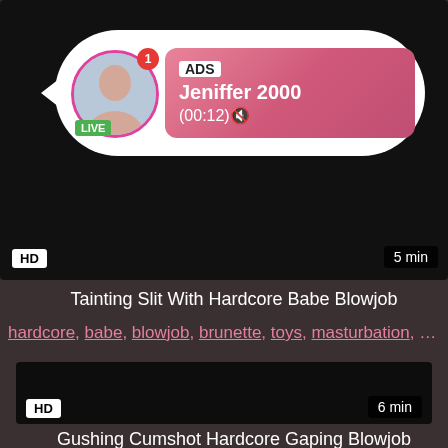[Figure (screenshot): Video thumbnail with black background, HD badge bottom-left, duration '5 min' bottom-right, and an overlay ad showing a profile avatar with LIVE badge, notification icon, and pink gradient card reading 'ADS Jeniffer 2000 (00:12)']
Tainting Slit With Hardcore Babe Blowjob
hardcore, babe, blowjob, brunette, toys, masturbation, bd...
[Figure (screenshot): Dark/black video thumbnail with HD badge bottom-left and '6 min' badge bottom-right]
Gushing Cumshot Hardcore Gaping Blowjob